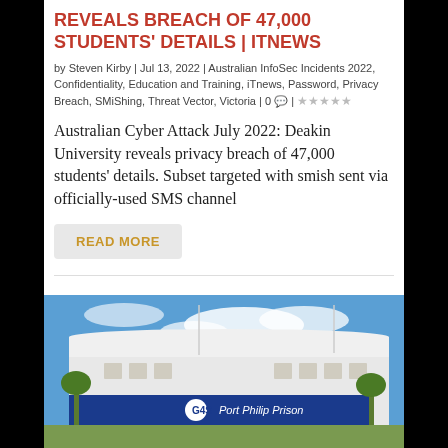REVEALS BREACH OF 47,000 STUDENTS' DETAILS | ITNEWS
by Steven Kirby | Jul 13, 2022 | Australian InfoSec Incidents 2022, Confidentiality, Education and Training, iTnews, Password, Privacy Breach, SMiShing, Threat Vector, Victoria | 0 💬 | ★★★★★
Australian Cyber Attack July 2022: Deakin University reveals privacy breach of 47,000 students' details. Subset targeted with smish sent via officially-used SMS channel
READ MORE
[Figure (photo): Photograph of Port Philip Prison building exterior with G4S logo and signage, blue sky in background with palm trees and flagpoles]